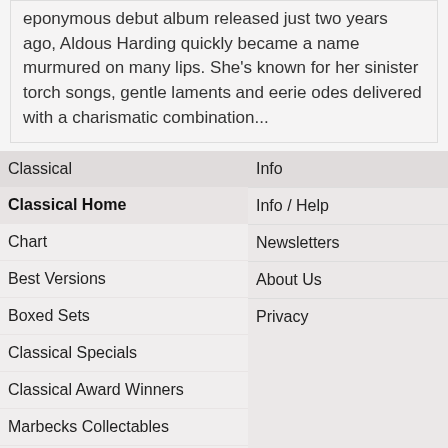eponymous debut album released just two years ago, Aldous Harding quickly became a name murmured on many lips. She's known for her sinister torch songs, gentle laments and eerie odes delivered with a charismatic combination...
Classical
Classical Home
Chart
Best Versions
Boxed Sets
Classical Specials
Classical Award Winners
Marbecks Collectables
CD
DVD
Info
Info / Help
Newsletters
About Us
Privacy